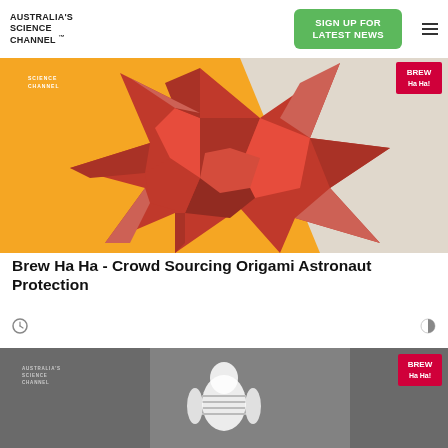[Figure (logo): Australia's Science Channel logo text in bold uppercase]
[Figure (other): Green 'SIGN UP FOR LATEST NEWS' button]
[Figure (photo): Red origami paper star/flower against orange/yellow background with Science Channel and Brew Ha Ha badges]
Brew Ha Ha - Crowd Sourcing Origami Astronaut Protection
[Figure (photo): Second article image showing grayscale content with Australia's Science Channel logo and Brew Ha Ha badge]